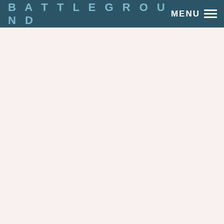BATTLEGROUND   MENU
[Figure (other): Nearly blank page body with off-white pinkish background color (#f9f0f0), no visible content.]